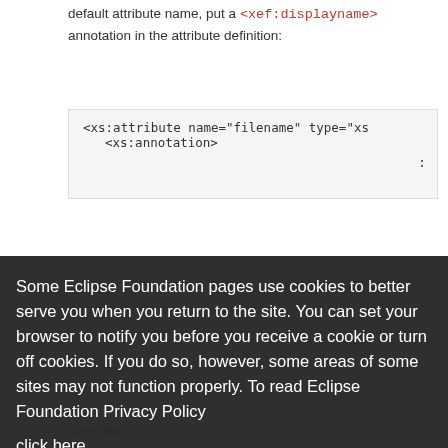default attribute name, put a <xef:displayname> annotation in the attribute definition:
[Figure (screenshot): Code block showing XML snippet: <xs:attribute name="filename" type="xs... and <xs:annotation>]
Some Eclipse Foundation pages use cookies to better serve you when you return to the site. You can set your browser to notify you before you receive a cookie or turn off cookies. If you do so, however, some areas of some sites may not function properly. To read Eclipse Foundation Privacy Policy click here.
Decline
Allow cookies
specified.